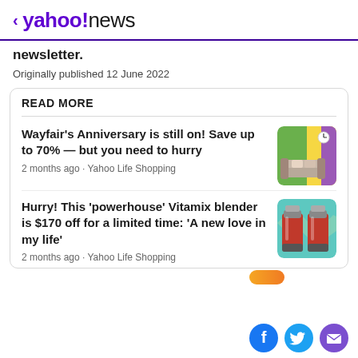< yahoo!news
newsletter.
Originally published 12 June 2022
READ MORE
Wayfair's Anniversary is still on! Save up to 70% — but you need to hurry
2 months ago · Yahoo Life Shopping
Hurry! This 'powerhouse' Vitamix blender is $170 off for a limited time: 'A new love in my life'
2 months ago · Yahoo Life Shopping